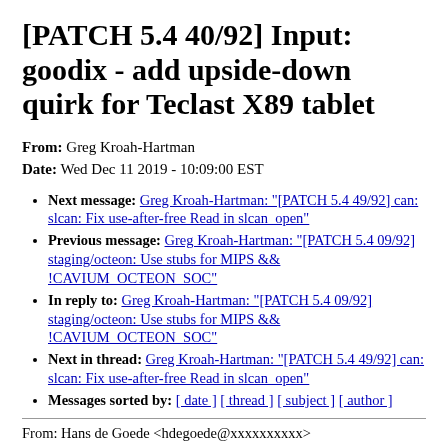[PATCH 5.4 40/92] Input: goodix - add upside-down quirk for Teclast X89 tablet
From: Greg Kroah-Hartman
Date: Wed Dec 11 2019 - 10:09:00 EST
Next message: Greg Kroah-Hartman: "[PATCH 5.4 49/92] can: slcan: Fix use-after-free Read in slcan_open"
Previous message: Greg Kroah-Hartman: "[PATCH 5.4 09/92] staging/octeon: Use stubs for MIPS && !CAVIUM_OCTEON_SOC"
In reply to: Greg Kroah-Hartman: "[PATCH 5.4 09/92] staging/octeon: Use stubs for MIPS && !CAVIUM_OCTEON_SOC"
Next in thread: Greg Kroah-Hartman: "[PATCH 5.4 49/92] can: slcan: Fix use-after-free Read in slcan_open"
Messages sorted by: [ date ] [ thread ] [ subject ] [ author ]
From: Hans de Goede <hdegoede@xxxxxxxxxx>